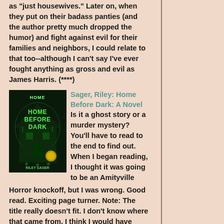as "just housewives." Later on, when they put on their badass panties (and the author pretty much dropped the humor) and fight against evil for their families and neighbors, I could relate to that too--although I can't say I've ever fought anything as gross and evil as James Harris. (****)
[Figure (photo): Book cover for 'Home Before Dark' by Riley Sager. Green glowing gothic house design on dark background.]
Sager, Riley: Home Before Dark: A Novel
Is it a ghost story or a murder mystery? You'll have to read to the end to find out. When I began reading, I thought it was going to be an Amityville Horror knockoff, but I was wrong. Good read. Exciting page turner. Note: The title really doesn't fit. I don't know where that came from. I think I would have titled it The Ghosts of Baneberry Hall. The word "dark" seems to be a draw these days, in novels and in Netflix movies. (***)